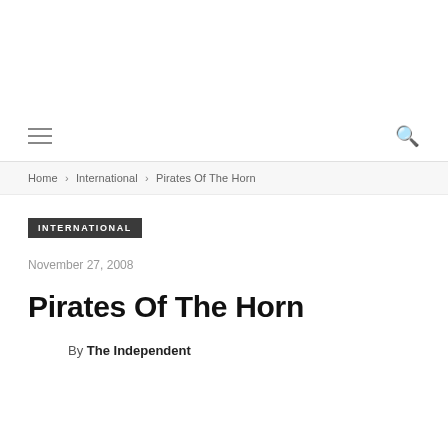Home › International › Pirates Of The Horn
INTERNATIONAL
November 27, 2008
Pirates Of The Horn
By The Independent